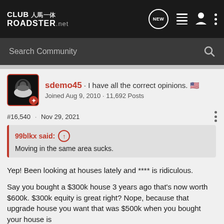CLUB 人馬一体 ROADSTER.net
Search Community
sdemo45 · I have all the correct opinions. 🇺🇸
Joined Aug 9, 2010 · 11,692 Posts
#16,540 · Nov 29, 2021
99blkx said:
Moving in the same area sucks.
Yep! Been looking at houses lately and **** is ridiculous.

Say you bought a $300k house 3 years ago that's now worth $600k. $300k equity is great right? Nope, because that upgrade house you want that was $500k when you bought your house is now worth $1M... or even $800k for the nicer th...